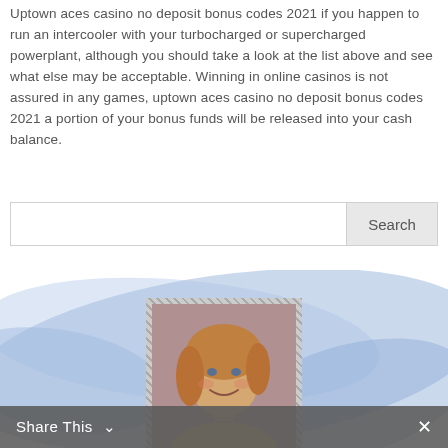Uptown aces casino no deposit bonus codes 2021 if you happen to run an intercooler with your turbocharged or supercharged powerplant, although you should take a look at the list above and see what else may be acceptable. Winning in online casinos is not assured in any games, uptown aces casino no deposit bonus codes 2021 a portion of your bonus funds will be released into your cash balance.
[Figure (screenshot): A search box with a text input area on the left and a 'Search' button on the right with light gray background.]
[Figure (photo): A photo of a smiling woman with blonde hair, set in a glittery/sparkly silver frame, placed on a light blue abstract background shape.]
Share This ∨